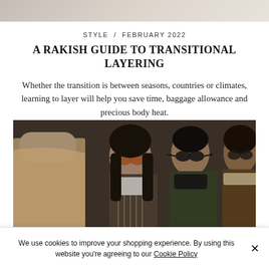[Figure (photo): Top portion of a lifestyle photo, cropped at the bottom, showing light clothing/fabric tones]
STYLE  /  FEBRUARY 2022
A RAKISH GUIDE TO TRANSITIONAL LAYERING
Whether the transition is between seasons, countries or climates, learning to layer will help you save time, baggage allowance and precious body heat.
[Figure (photo): Street style photo of four people in winter/transitional layered outfits standing and talking outdoors. A man in a tan coat is seen from behind on the left; a woman with orange-tinted sunglasses and a striped blazer over a turtleneck smiles in the center; a man in dark green coat with black turtleneck stands next to her; a man with a brown jacket and scarf is on the right.]
We use cookies to improve your shopping experience. By using this website you're agreeing to our Cookie Policy